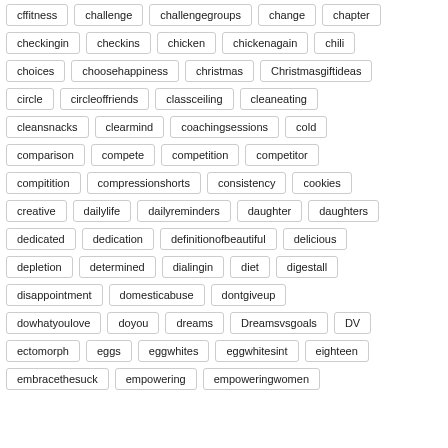cffitness
challenge
challengegroups
change
chapter
checkingin
checkins
chicken
chickenagain
chili
choices
choosehappiness
christmas
Christmasgiftideas
circle
circleoffriends
classceiling
cleaneating
cleansnacks
clearmind
coachingsessions
cold
comparison
compete
competition
competitor
compitition
compressionshorts
consistency
cookies
creative
dailylife
dailyreminders
daughter
daughters
dedicated
dedication
definitionofbeautiful
delicious
depletion
determined
dialingin
diet
digestall
disappointment
domesticabuse
dontgiveup
dowhatyoulove
doyou
dreams
Dreamsvsgoals
DV
ectomorph
eggs
eggwhites
eggwhitesint
eighteen
embracethesuck
empowering
empoweringwomen